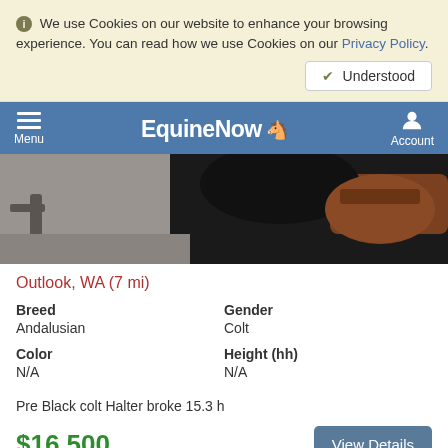We use Cookies on our website to enhance your browsing experience. You can read how we use Cookies on our Privacy Policy.
Understood
EquinеNow — Menu | Account
[Figure (photo): Close-up photo of a dark/black horse with saddle and bridle equipment]
Outlook, WA (7 mi)
| Breed | Gender |
| --- | --- |
| Andalusian | Colt |
| Color | Height (hh) |
| --- | --- |
| N/A | N/A |
Pre Black colt Halter broke 15.3 h
$16,500
View Details